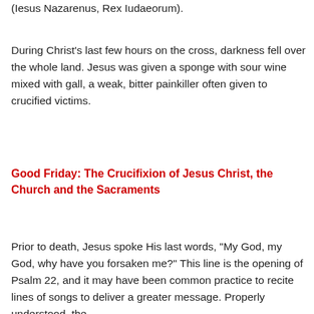(Iesus Nazarenus, Rex Iudaeorum).
During Christ's last few hours on the cross, darkness fell over the whole land. Jesus was given a sponge with sour wine mixed with gall, a weak, bitter painkiller often given to crucified victims.
Good Friday: The Crucifixion of Jesus Christ, the Church and the Sacraments
Prior to death, Jesus spoke His last words, "My God, my God, why have you forsaken me?" This line is the opening of Psalm 22, and it may have been common practice to recite lines of songs to deliver a greater message. Properly understood, the